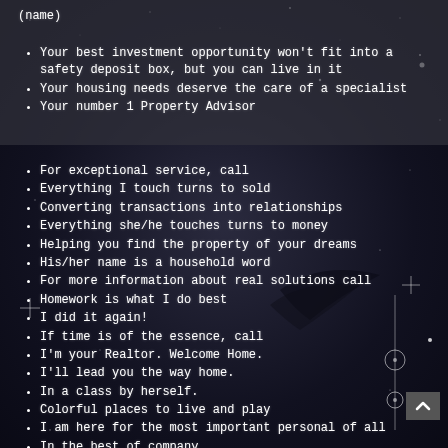(name)
Your best investment opportunity won't fit into a safety deposit box, but you can live in it
Your housing needs deserve the care of a specialist
Your number 1 Property Advisor
For exceptional service, call
Everything I touch turns to sold
Converting transactions into relationships
Everything she/he touches turns to money
Helping you find the property of your dreams
His/her name is a household word
For more information about real solutions call
Homework is what I do best
I did it again!
If time is of the essence, call
I'm your Realtor. Welcome Home.
I'll lead you the way home.
In a class by herself.
Colorful places to live and play
I am here for the most important personal of all
In the best of company
Homes and local scoop for the real estate obsessed
If you think it's expensive to hire a professional, wait till you hire an amateur
It's 6:30am – do you know where your next home is going to be?
J.J. Hankes. Nobody does it better.